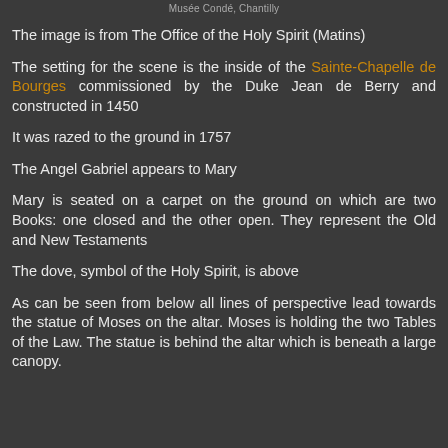Musée Condé, Chantilly
The image is from The Office of the Holy Spirit (Matins)
The setting for the scene is the inside of the Sainte-Chapelle de Bourges commissioned by the Duke Jean de Berry and constructed in 1450
It was razed to the ground in 1757
The Angel Gabriel appears to Mary
Mary is seated on a carpet on the ground on which are two Books: one closed and the other open. They represent the Old and New Testaments
The dove, symbol of the Holy Spirit, is above
As can be seen from below all lines of perspective lead towards the statue of Moses on the altar. Moses is holding the two Tables of the Law. The statue is behind the altar which is beneath a large canopy.